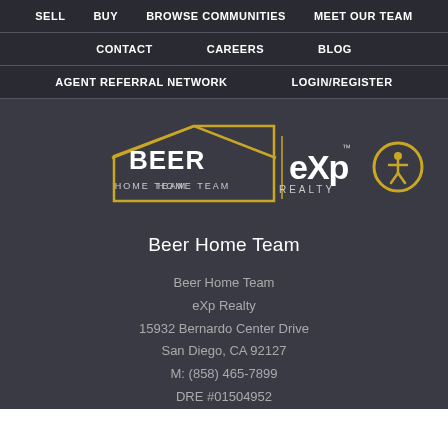SELL  BUY  BROWSE COMMUNITIES  MEET OUR TEAM  CONTACT  CAREERS  BLOG  AGENT REFERRAL NETWORK  LOGIN/REGISTER
[Figure (logo): Beer Home Team | eXp Realty logo — house outline in gold with BEER HOME TEAM text inside, next to eXp REALTY wordmark]
[Figure (illustration): Accessibility icon: person figure inside a gold circle]
Beer Home Team
Beer Home Team
eXp Realty
15932 Bernardo Center Drive
San Diego, CA 92127
M: (858) 465-7899
DRE #01504952